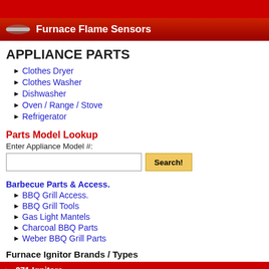[Figure (screenshot): Red top strip banner area of website]
Furnace Flame Sensors
APPLIANCE PARTS
Clothes Dryer
Clothes Washer
Dishwasher
Oven / Range / Stove
Refrigerator
Parts Model Lookup
Enter Appliance Model #:
Barbecue Parts & Access.
BBQ Grill Access.
BBQ Grill Tools
Gas Light Mantels
Charcoal BBQ Parts
Weber BBQ Grill Parts
Furnace Ignitor Brands / Types
271 Ignitors
601 Ignitors
Round Spiral
01 - Cabinet
02 -
06 - Su
[Figure (illustration): Exploded parts diagram of a gas range/stove showing components]
05 - Gas Controls
Search by Keyword(s):